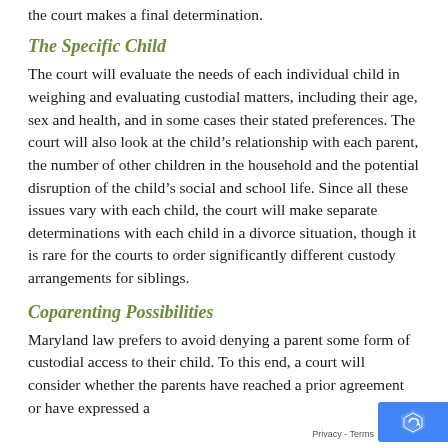the court makes a final determination.
The Specific Child
The court will evaluate the needs of each individual child in weighing and evaluating custodial matters, including their age, sex and health, and in some cases their stated preferences. The court will also look at the child’s relationship with each parent, the number of other children in the household and the potential disruption of the child’s social and school life. Since all these issues vary with each child, the court will make separate determinations with each child in a divorce situation, though it is rare for the courts to order significantly different custody arrangements for siblings.
Coparenting Possibilities
Maryland law prefers to avoid denying a parent some form of custodial access to their child. To this end, a court will consider whether the parents have reached a prior agreement or have expressed a